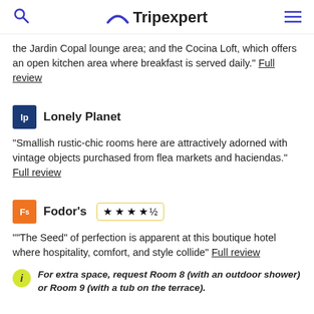Tripexpert
the Jardin Copal lounge area; and the Cocina Loft, which offers an open kitchen area where breakfast is served daily." Full review
Lonely Planet
"Smallish rustic-chic rooms here are attractively adorned with vintage objects purchased from flea markets and haciendas." Full review
Fodor's
""The Seed" of perfection is apparent at this boutique hotel where hospitality, comfort, and style collide" Full review
For extra space, request Room 8 (with an outdoor shower) or Room 9 (with a tub on the terrace).